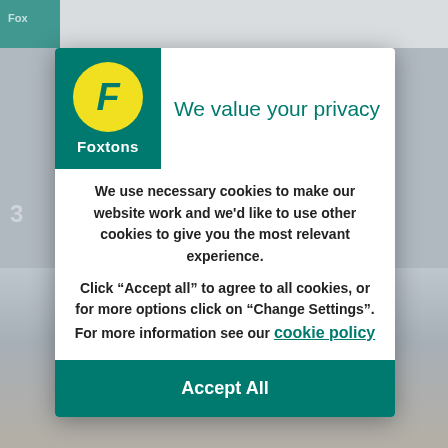[Figure (screenshot): Foxtons real estate website screenshot visible in background behind cookie consent modal]
We value your privacy
We use necessary cookies to make our website work and we'd like to use other cookies to give you the most relevant experience.
Click “Accept all” to agree to all cookies, or for more options click on “Change Settings”. For more information see our cookie policy